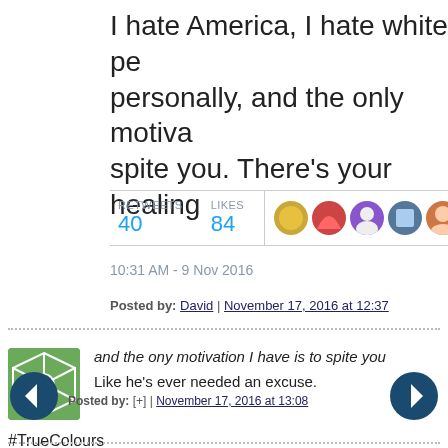I hate America, I hate white pe personally, and the only motiva spite you. There's your healing
RETWEETS 40   LIKES 84
10:31 AM - 9 Nov 2016
Posted by: David | November 17, 2016 at 12:37
and the ony motivation I have is to spite you
Like he's ever needed an excuse.
#TrueColours
Posted by: [+] | November 17, 2016 at 13:08